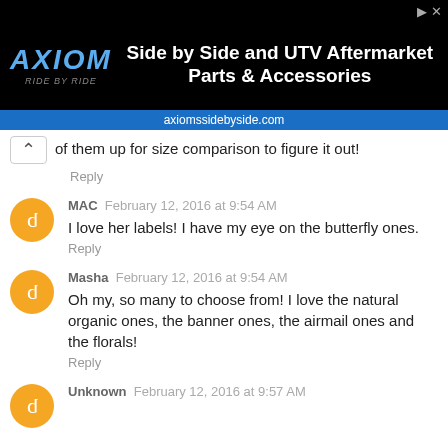[Figure (screenshot): AXIOM Side by Side and UTV Aftermarket Parts & Accessories advertisement banner with axiomssidebyside.com URL]
of them up for size comparison to figure it out!
Reply
MAC  February 12, 2016 at 9:54 AM
I love her labels! I have my eye on the butterfly ones.
Reply
Masha  February 12, 2016 at 9:54 AM
Oh my, so many to choose from! I love the natural organic ones, the banner ones, the airmail ones and the florals!
Reply
Unknown  February 12, 2016 at 9:57 AM